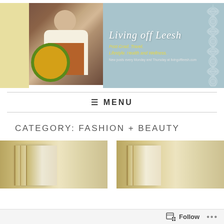[Figure (photo): Blog header banner for 'Living off Leesh' — a light blue background with white lace pattern on right, a photo of a blonde woman holding a sunflower on a yellow background panel on the left. Blog title in white italic script, subtitle in yellow italic text 'Post-Grad. Travel. Lifestyle. Health and Wellness.' and tagline 'New posts every Monday and Thursday at livingoffleesh.com']
☰ MENU
CATEGORY: FASHION + BEAUTY
[Figure (photo): Two partially visible image thumbnails at the bottom of the page showing beige/tan/gold toned images, cropped at page edge]